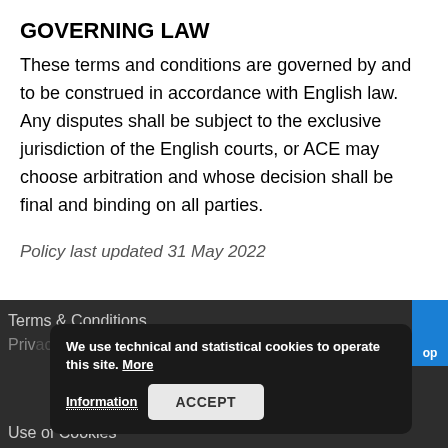GOVERNING LAW
These terms and conditions are governed by and to be construed in accordance with English law. Any disputes shall be subject to the exclusive jurisdiction of the English courts, or ACE may choose arbitration and whose decision shall be final and binding on all parties.
Policy last updated 31 May 2022
Terms & Conditions
Privacy Policy
Use of Cookies
We use technical and statistical cookies to operate this site. More
Information   ACCEPT